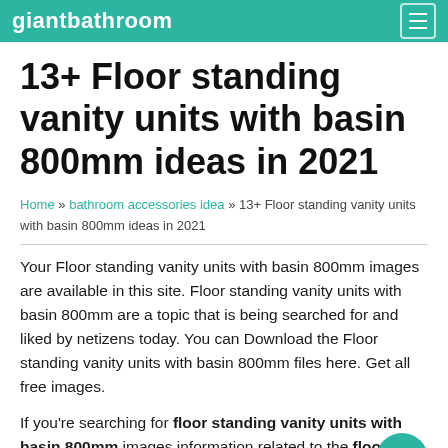giantbathroom
13+ Floor standing vanity units with basin 800mm ideas in 2021
Home » bathroom accessories idea » 13+ Floor standing vanity units with basin 800mm ideas in 2021
Your Floor standing vanity units with basin 800mm images are available in this site. Floor standing vanity units with basin 800mm are a topic that is being searched for and liked by netizens today. You can Download the Floor standing vanity units with basin 800mm files here. Get all free images.
If you're searching for floor standing vanity units with basin 800mm images information related to the floor